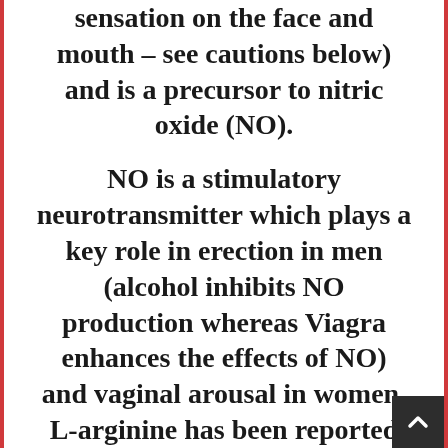sensation on the face and mouth – see cautions below) and is a precursor to nitric oxide (NO). NO is a stimulatory neurotransmitter which plays a key role in erection in men (alcohol inhibits NO production whereas Viagra enhances the effects of NO) and vaginal arousal in women. L-arginine has been reported to increase erection, ejaculate volume and sexual stamina in men and to increase libido and the intensity of sexual sensations in men and women. In